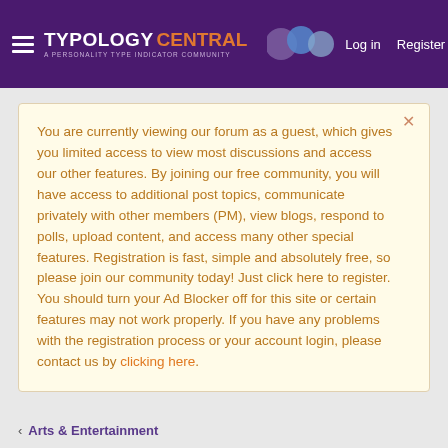Typology Central — A Personality Type Indicator Community | Log in | Register
You are currently viewing our forum as a guest, which gives you limited access to view most discussions and access our other features. By joining our free community, you will have access to additional post topics, communicate privately with other members (PM), view blogs, respond to polls, upload content, and access many other special features. Registration is fast, simple and absolutely free, so please join our community today! Just click here to register. You should turn your Ad Blocker off for this site or certain features may not work properly. If you have any problems with the registration process or your account login, please contact us by clicking here.
Arts & Entertainment